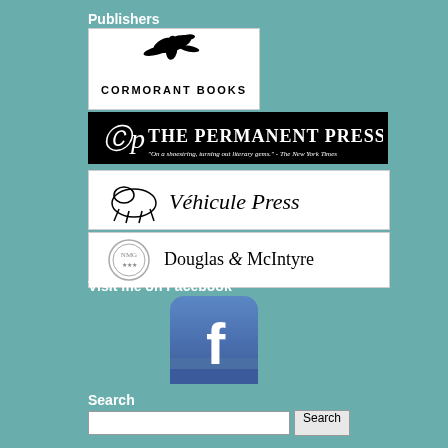Publishers
[Figure (logo): Cormorant Books logo — black flying cormorant bird above text 'CORMORANT BOOKS' in white box with border]
[Figure (logo): The Permanent Press logo — black background with decorative CP monogram and bold white serif text 'THE PERMANENT PRESS', subtitle 'On a shoestring, turning out literary gems.' - The New York Times]
[Figure (logo): Véhicule Press logo — white box with running fox/horse icon and italic text 'Véhicule Press']
[Figure (logo): Douglas & McIntyre logo — white box with ornate circular emblem on left and serif text 'Douglas & McIntyre']
Visit me on Facebook
[Figure (logo): Facebook icon — rounded square with blue gradient background and white lowercase 'f' letter]
Search
[Figure (other): Search input box with Search button]